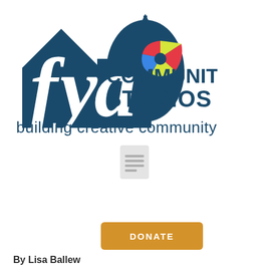[Figure (logo): FYA Community Studios logo with text 'building creative community'. Features a dark teal house/building silhouette with a dome, white cursive letters 'fya', a colorful fan/pinwheel graphic in red, yellow, and blue, and bold block text 'COMMUNITY STUDIOS'. Below reads 'building creative community' in dark teal sans-serif font.]
[Figure (illustration): Small gray document/page icon with horizontal lines representing text]
DONATE
By Lisa Ballew